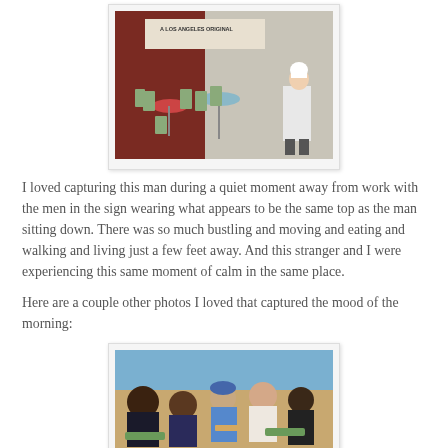[Figure (photo): Outdoor restaurant seating area with folding chairs and tables. A chef in white uniform and white hat sits at a table. A sign reading 'A Los Angeles Original' is visible in the background.]
I loved capturing this man during a quiet moment away from work with the men in the sign wearing what appears to be the same top as the man sitting down. There was so much bustling and moving and eating and walking and living just a few feet away. And this stranger and I were experiencing this same moment of calm in the same place.
Here are a couple other photos I loved that captured the mood of the morning:
[Figure (photo): Crowded indoor or semi-outdoor dining scene with multiple people sitting at tables eating and talking. Visible patrons include people of various ethnicities. Green chairs are visible.]